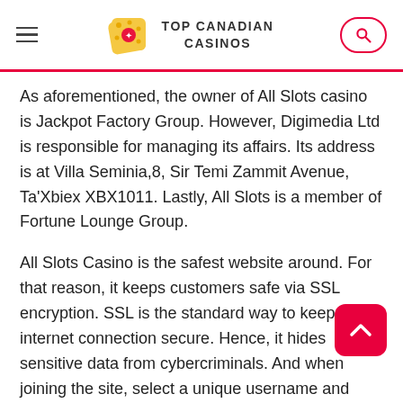TOP CANADIAN CASINOS
As aforementioned, the owner of All Slots casino is Jackpot Factory Group. However, Digimedia Ltd is responsible for managing its affairs. Its address is at Villa Seminia,8, Sir Temi Zammit Avenue, Ta'Xbiex XBX1011. Lastly, All Slots is a member of Fortune Lounge Group.
All Slots Casino is the safest website around. For that reason, it keeps customers safe via SSL encryption. SSL is the standard way to keep your internet connection secure. Hence, it hides sensitive data from cybercriminals. And when joining the site, select a unique username and password. Doing so will ensure your safety at the site. Besides, you can retrieve your details fast by contacting customer service.
If you doubt about starting to play at All Slots online, you